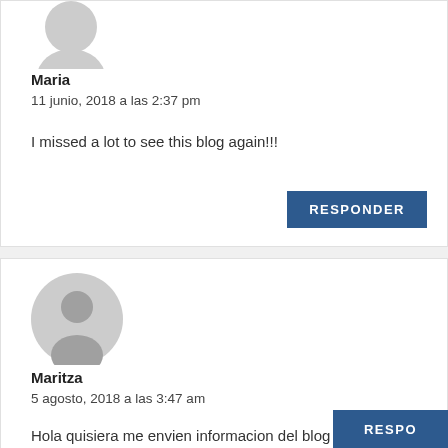[Figure (illustration): Gray avatar placeholder icon (partial, top of page)]
Maria
11 junio, 2018 a las 2:37 pm
I missed a lot to see this blog again!!!
RESPONDER
[Figure (illustration): Gray circular avatar placeholder with person silhouette]
Maritza
5 agosto, 2018 a las 3:47 am
Hola quisiera me envien informacion del blog